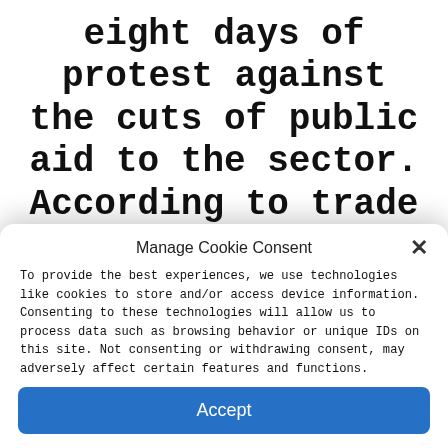eight days of protest against the cuts of public aid to the sector. According to trade unions, the reduction of the public economic aid to the sector will lead to the inevitable
Manage Cookie Consent
To provide the best experiences, we use technologies like cookies to store and/or access device information. Consenting to these technologies will allow us to process data such as browsing behavior or unique IDs on this site. Not consenting or withdrawing consent, may adversely affect certain features and functions.
Accept